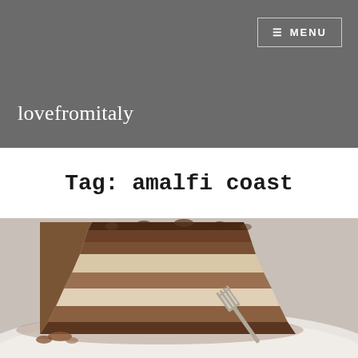lovefromitaly
Tag: amalfi coast
[Figure (photo): A slice of layered cake (appears to be a nut/cream cake) on a white plate with a fork beside it]